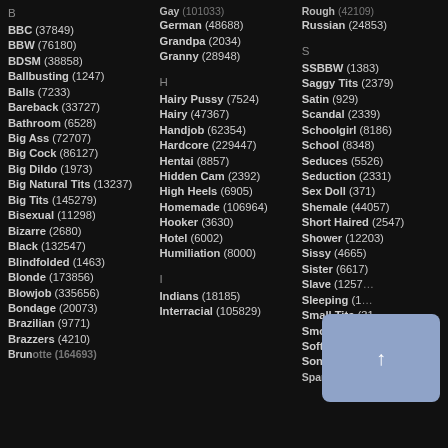B
BBC (37849)
BBW (76180)
BDSM (38858)
Ballbusting (1247)
Balls (7233)
Bareback (33727)
Bathroom (6528)
Big Ass (72707)
Big Cock (86127)
Big Dildo (1973)
Big Natural Tits (13237)
Big Tits (145279)
Bisexual (11298)
Bizarre (2680)
Black (132547)
Blindfolded (1463)
Blonde (173856)
Blowjob (335656)
Bondage (20073)
Brazilian (9771)
Brazzers (4210)
Brunette (164693)
Gay (101033)
German (48688)
Grandpa (2034)
Granny (28948)
H
Hairy Pussy (7524)
Hairy (47367)
Handjob (62354)
Hardcore (229447)
Hentai (8857)
Hidden Cam (2392)
High Heels (6905)
Homemade (106964)
Hooker (3630)
Hotel (6002)
Humiliation (8000)
I
Indians (18185)
Interracial (105829)
Rough (42109)
Russian (24853)
S
SSBBW (1383)
Saggy Tits (2379)
Satin (929)
Scandal (2339)
Schoolgirl (8186)
School (8348)
Seduces (5526)
Seduction (2331)
Sex Doll (371)
Shemale (44057)
Short Haired (2547)
Shower (12203)
Sissy (4665)
Sister (6617)
Slave (12576)
Sleeping (1...)
Small Tits (31855)
Smoking (9609)
Softcore (13666)
Son (6762)
Spanking (11050)